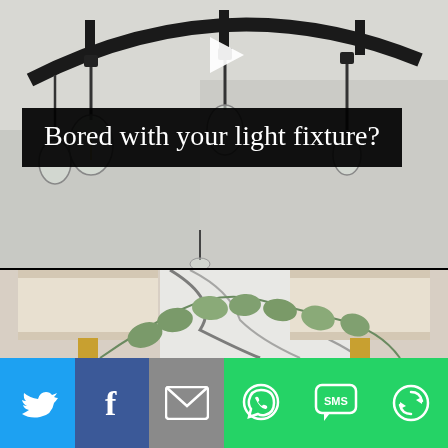[Figure (photo): Overhead view of a black circular chandelier with Edison-style exposed filament bulbs hanging from it, with a grey-painted room and roman shade window visible in background. A black play button triangle is visible in the upper center.]
Bored with your light fixture?
[Figure (photo): Close-up of a chandelier with white drum lamp shades and gold accents, with eucalyptus branches in front, and a marbled white and black abstract art piece on the wall behind.]
[Figure (infographic): Social sharing bar with six buttons: Twitter (blue bird icon), Facebook (dark blue F icon), Email (grey envelope icon), WhatsApp (green phone icon), SMS (green SMS bubble icon), More (green circular arrows icon).]